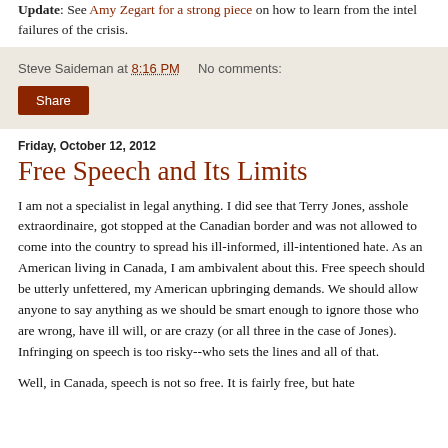Update: See Amy Zegart for a strong piece on how to learn from the intel failures of the crisis.
Steve Saideman at 8:16 PM   No comments:
Share
Friday, October 12, 2012
Free Speech and Its Limits
I am not a specialist in legal anything.  I did see that Terry Jones, asshole extraordinaire, got stopped at the Canadian border and was not allowed to come into the country to spread his ill-informed, ill-intentioned hate.  As an American living in Canada, I am ambivalent about this.  Free speech should be utterly unfettered, my American upbringing demands. We should allow anyone to say anything as we should be smart enough to ignore those who are wrong, have ill will, or are crazy (or all three in the case of Jones).  Infringing on speech is too risky--who sets the lines and all of that.
Well, in Canada, speech is not so free.  It is fairly free, but hate